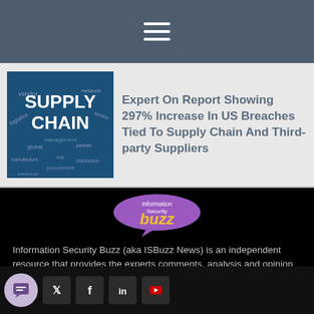Navigation menu
Expert On Report Showing 297% Increase In US Breaches Tied To Supply Chain And Third-party Suppliers
[Figure (logo): Information Security Buzz logo — purple speech bubble with 'Information Security buzz' text in white and yellow]
Information Security Buzz (aka ISBuzz News) is an independent resource that provides the experts comments, analysis and opinion on the latest Information Security news and topics
Social media icons: chat, Twitter, Facebook, LinkedIn, YouTube